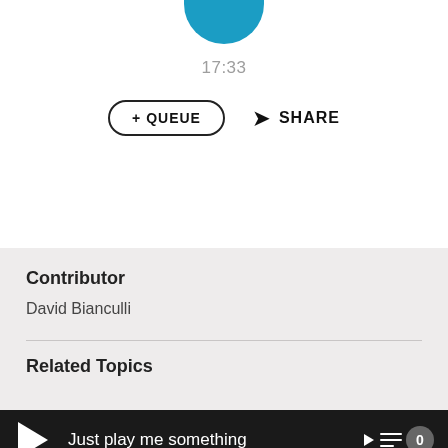[Figure (screenshot): Blue circle partially visible at top of screen (podcast or audio player UI)]
17:33
+ QUEUE
SHARE
Contributor
David Bianculli
Related Topics
Just play me something   0